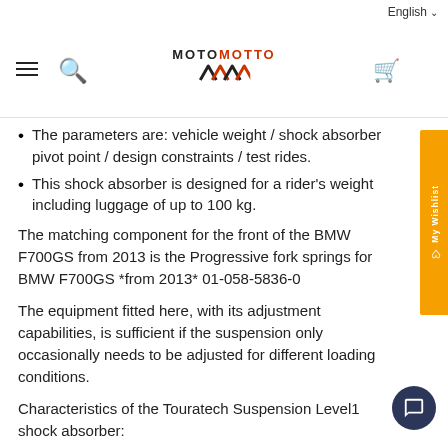MOTOMOTTO | English
The parameters are: vehicle weight / shock absorber pivot point / design constraints / test rides.
This shock absorber is designed for a rider's weight including luggage of up to 100 kg.
The matching component for the front of the BMW F700GS from 2013 is the Progressive fork springs for BMW F700GS *from 2013* 01-058-5836-0
The equipment fitted here, with its adjustment capabilities, is sufficient if the suspension only occasionally needs to be adjusted for different loading conditions.
Characteristics of the Touratech Suspension Level1 shock absorber:
The shock absorber body is made of aluminum. This keeps